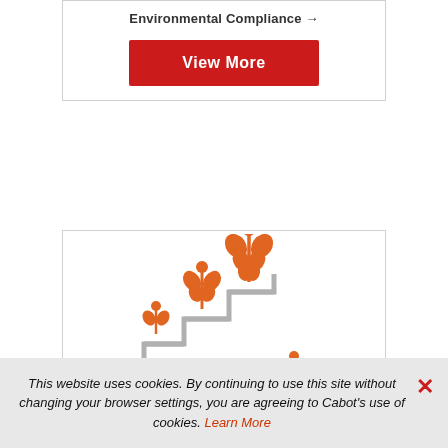Environmental Compliance →
[Figure (illustration): Red 'View More' button]
[Figure (illustration): Orange plant/growth icons on stair-step graphic representing environmental growth or compliance progress]
This website uses cookies. By continuing to use this site without changing your browser settings, you are agreeing to Cabot's use of cookies. Learn More